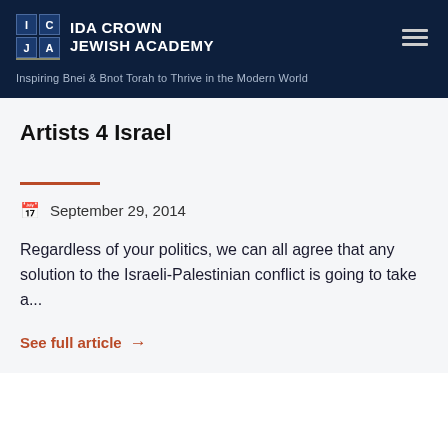IDA CROWN JEWISH ACADEMY — Inspiring Bnei & Bnot Torah to Thrive in the Modern World
Artists 4 Israel
September 29, 2014
Regardless of your politics, we can all agree that any solution to the Israeli-Palestinian conflict is going to take a...
See full article →